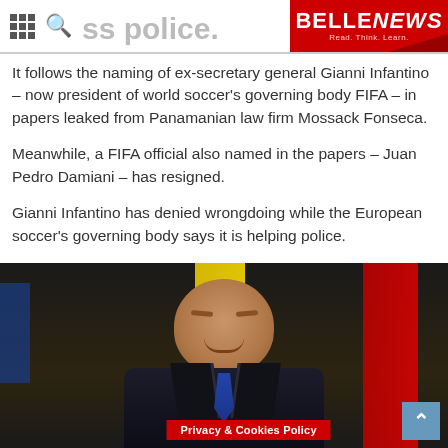BELLE NEWS — Read. Think. Learn.
It follows the naming of ex-secretary general Gianni Infantino – now president of world soccer's governing body FIFA – in papers leaked from Panamanian law firm Mossack Fonseca.
Meanwhile, a FIFA official also named in the papers – Juan Pedro Damiani – has resigned.
Gianni Infantino has denied wrongdoing while the European soccer's governing body says it is helping police.
[Figure (photo): Photo of a bald man in a dark suit with a blue tie, smiling with eyes closed, seated at a table. A yellow flag and a red flag are visible in the background. A red nameplate reading 'Privacy & Cookies Policy' is in the foreground.]